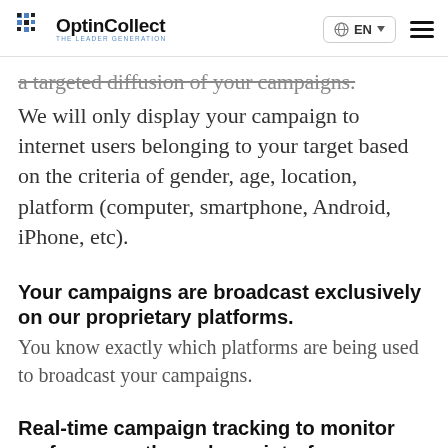OptinCollect THE LEADER GENERATION | EN | menu
a targeted diffusion of your campaigns.
We will only display your campaign to internet users belonging to your target based on the criteria of gender, age, location, platform (computer, smartphone, Android, iPhone, etc).
Your campaigns are broadcast exclusively on our proprietary platforms.
You know exactly which platforms are being used to broadcast your campaigns.
Real-time campaign tracking to monitor performance through our interface.
We will offer you access to our interface to allow you to monitor the performance of your